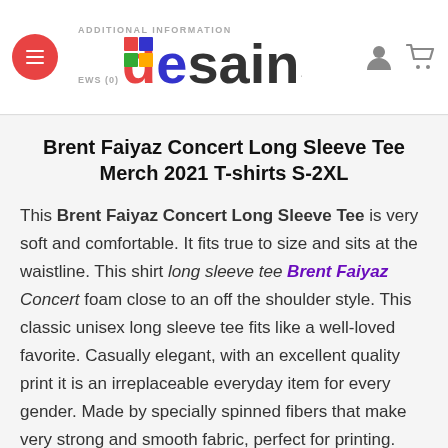ADDITIONAL INFORMATION | REVIEWS (0) | desains
Brent Faiyaz Concert Long Sleeve Tee Merch 2021 T-shirts S-2XL
This Brent Faiyaz Concert Long Sleeve Tee is very soft and comfortable. It fits true to size and sits at the waistline. This shirt long sleeve tee Brent Faiyaz Concert foam close to an off the shoulder style. This classic unisex long sleeve tee fits like a well-loved favorite. Casually elegant, with an excellent quality print it is an irreplaceable everyday item for every gender. Made by specially spinned fibers that make very strong and smooth fabric, perfect for printing. Located along the sides of a garment, they hold shirts shape longer and lend its structural support. Ribbed knit makes collar highly elastic and helps retain its shape.Twill tape covers the shoulder seams to stabilize the back of the